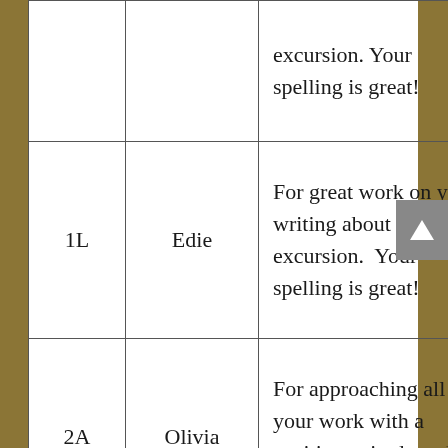| Class | Name | Comment |
| --- | --- | --- |
|  |  | excursion. Your spelling is great! |
| 1L | Edie | For great work on your writing about the excursion. Your spelling is great! |
| 2A | Olivia | For approaching all of your work with a positive attitude and persistence. |
|  |  |  |